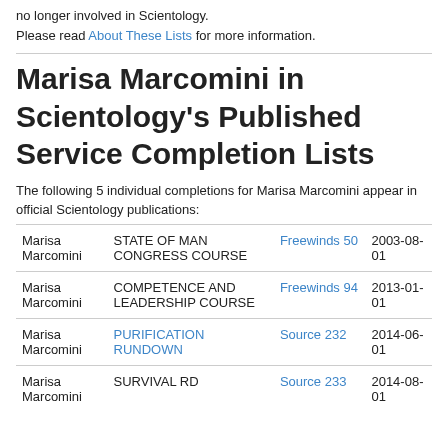no longer involved in Scientology.
Please read About These Lists for more information.
Marisa Marcomini in Scientology's Published Service Completion Lists
The following 5 individual completions for Marisa Marcomini appear in official Scientology publications:
| Name | Course | Publication | Date |
| --- | --- | --- | --- |
| Marisa Marcomini | STATE OF MAN CONGRESS COURSE | Freewinds 50 | 2003-08-01 |
| Marisa Marcomini | COMPETENCE AND LEADERSHIP COURSE | Freewinds 94 | 2013-01-01 |
| Marisa Marcomini | PURIFICATION RUNDOWN | Source 232 | 2014-06-01 |
| Marisa Marcomini | SURVIVAL RD | Source 233 | 2014-08-01 |